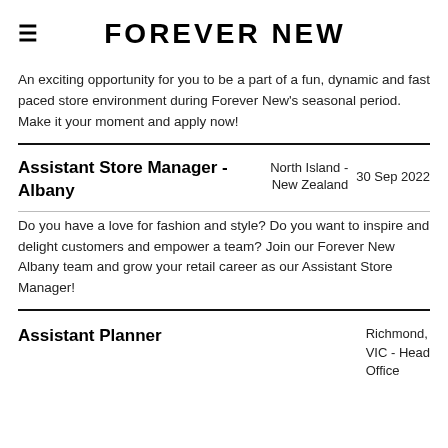FOREVER NEW
An exciting opportunity for you to be a part of a fun, dynamic and fast paced store environment during Forever New's seasonal period. Make it your moment and apply now!
Assistant Store Manager - Albany
North Island - New Zealand  30 Sep 2022
Do you have a love for fashion and style? Do you want to inspire and delight customers and empower a team? Join our Forever New Albany team and grow your retail career as our Assistant Store Manager!
Assistant Planner
Richmond, VIC - Head Office